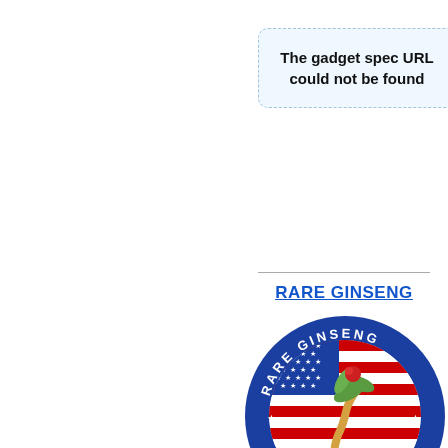[Figure (other): Gadget placeholder box with dashed blue border and message: The gadget spec URL could not be found]
RARE GINSENG
[Figure (logo): Rare Ginseng Wisconsin circular logo with American flag pattern, ginseng plant held by a hand, surrounded by blue gear-like border with text RARE GINSENG and WISCONSIN]